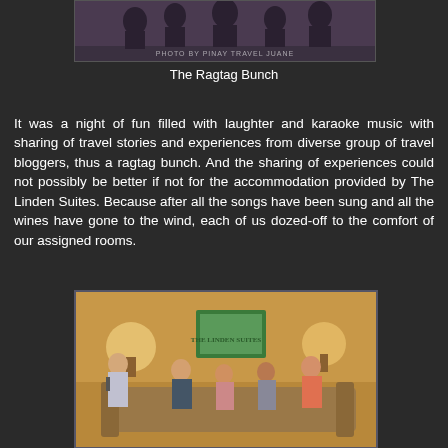[Figure (photo): Group photo of travel bloggers with watermark 'PHOTO BY PINAY TRAVEL JUANE' at the bottom]
The Ragtag Bunch
It was a night of fun filled with laughter and karaoke music with sharing of travel stories and experiences from diverse group of travel bloggers, thus a ragtag bunch. And the sharing of experiences could not possibly be better if not for the accommodation provided by The Linden Suites. Because after all the songs have been sung and all the wines have gone to the wind, each of us dozed-off to the comfort of our assigned rooms.
[Figure (photo): People in a hotel room doing karaoke, with 'THE LINDEN SUITES' text visible in the upper right corner. A woman stands holding a microphone while others sit on a couch.]